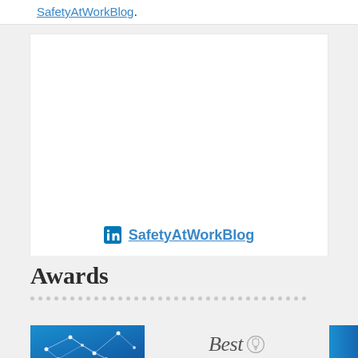SafetyAtWorkBlog.
[Figure (screenshot): LinkedIn profile card embed showing SafetyAtWorkBlog LinkedIn page link with LinkedIn icon]
Awards
[Figure (illustration): Two award badge images partially visible at the bottom: a blue geometric/network design on the left, and a 'Best' italic text with lightbulb icon in the center, and a blue banner element on the right]